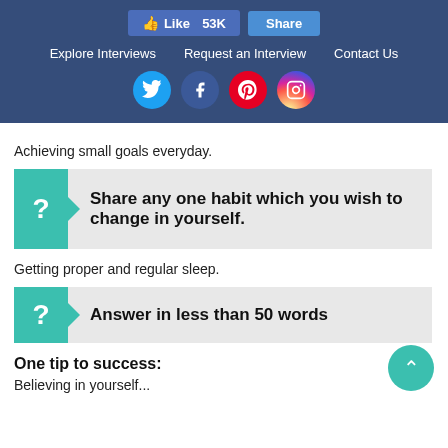[Figure (screenshot): Website header with Like (53K) and Share buttons, navigation links (Explore Interviews, Request an Interview, Contact Us), and social media icons (Twitter, Facebook, Pinterest, Instagram) on a dark blue background.]
Achieving small goals everyday.
[Figure (infographic): Teal question block with white question mark icon and text: Share any one habit which you wish to change in yourself.]
Getting proper and regular sleep.
[Figure (infographic): Teal question block with white question mark icon and text: Answer in less than 50 words]
One tip to success:
Believing in yourself...